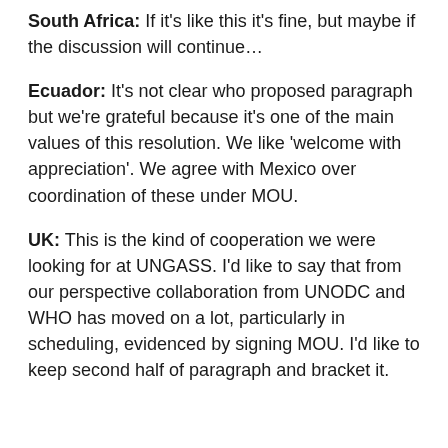South Africa: If it's like this it's fine, but maybe if the discussion will continue...
Ecuador: It's not clear who proposed paragraph but we're grateful because it's one of the main values of this resolution. We like 'welcome with appreciation'. We agree with Mexico over coordination of these under MOU.
UK: This is the kind of cooperation we were looking for at UNGASS. I'd like to say that from our perspective collaboration from UNODC and WHO has moved on a lot, particularly in scheduling, evidenced by signing MOU. I'd like to keep second half of paragraph and bracket it.